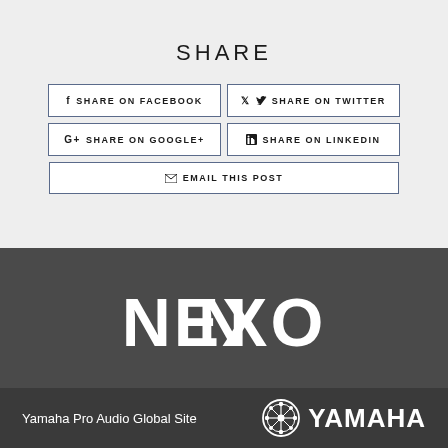SHARE
f  SHARE ON FACEBOOK
✦  SHARE ON TWITTER
G+  SHARE ON GOOGLE+
in  SHARE ON LINKEDIN
✉  EMAIL THIS POST
[Figure (logo): NEXO logo in white bold text on dark grey background]
Yamaha Pro Audio Global Site
[Figure (logo): Yamaha logo with circular emblem and YAMAHA text in white on dark grey]